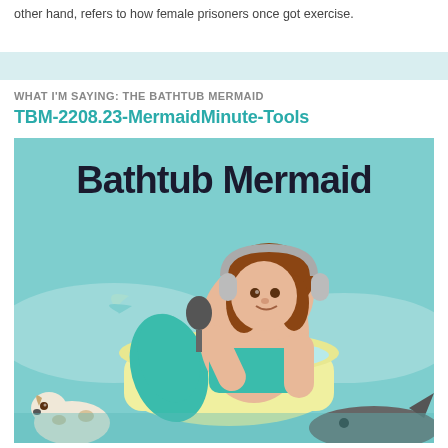other hand, refers to how female prisoners once got exercise.
WHAT I'M SAYING: THE BATHTUB MERMAID
TBM-2208.23-MermaidMinute-Tools
[Figure (illustration): Bathtub Mermaid podcast cover art showing a plus-size mermaid woman with brown hair and gray headphones sitting in a yellow bathtub, holding a microphone. The text 'Bathtub Mermaid' appears in large bold dark letters at the top. A small spotted dog and a shark are visible at the bottom. The background is teal/seafoam green with soft hills.]